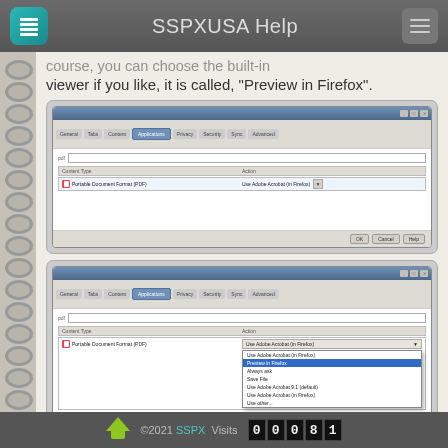SSPXUSA Help
course, you can choose the built-in viewer if you like, it is called, "Preview in Firefox".
[Figure (screenshot): Firefox browser preferences dialog showing Applications tab with Portable Document Format (PDF) content type and 'Use Adobe Acrobat (in Firefox)' action selected]
[Figure (screenshot): Firefox browser preferences dialog showing Applications tab with a dropdown menu open showing options including 'Preview in Firefox', 'Always ask', 'Save File', 'Use Adobe Acrobat 9.1 (default)', 'Use Adobe Acrobat (in Firefox)', 'Use other...']
If you need more help with this, check
©2021 SSPX  Visits  00081